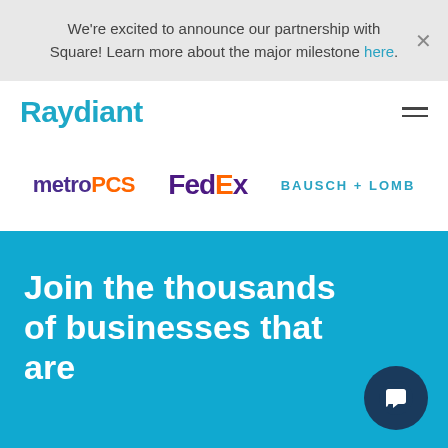We're excited to announce our partnership with Square! Learn more about the major milestone here.
[Figure (logo): Raydiant logo in teal/cyan bold font]
[Figure (logo): metroPCS logo - metro in dark purple bold, PCS in orange]
[Figure (logo): FedEx logo - Fed in purple, Ex in purple and orange]
[Figure (logo): BAUSCH+LOMB logo in teal uppercase with letter-spacing]
Join the thousands of businesses that are